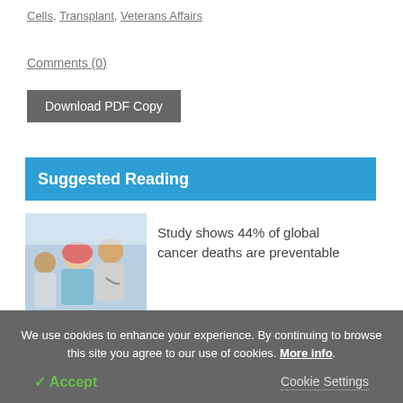Cells, Transplant, Veterans Affairs
Comments (0)
Download PDF Copy
Suggested Reading
[Figure (photo): Medical photo showing a doctor and patient, likely an oncology consultation scene]
Study shows 44% of global cancer deaths are preventable
We use cookies to enhance your experience. By continuing to browse this site you agree to our use of cookies. More info.
✓ Accept
Cookie Settings